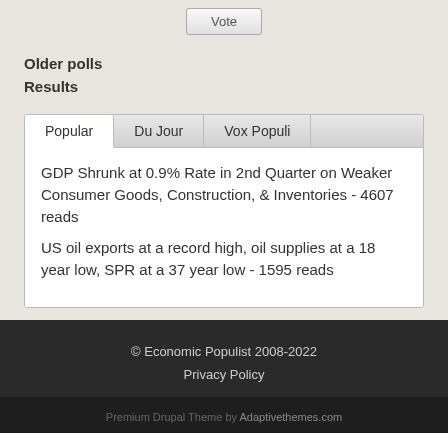Vote
Older polls
Results
Popular | Du Jour | Vox Populi
GDP Shrunk at 0.9% Rate in 2nd Quarter on Weaker Consumer Goods, Construction, & Inventories - 4607 reads
US oil exports at a record high, oil supplies at a 18 year low, SPR at a 37 year low - 1595 reads
© Economic Populist 2008-2022
Privacy Policy
Premium Drupal Theme by Adaptivethemes.com